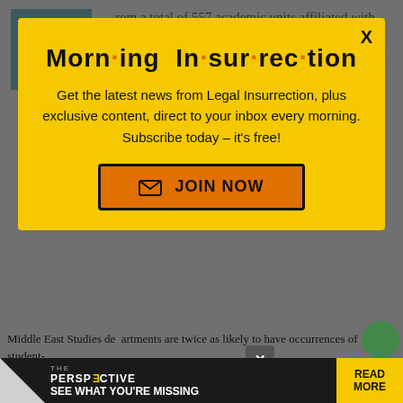rom a total of 557 academic units affiliated with Ethnic, Gender, and Middle East Studies at 100 schools, 137 (25%) academic units at 52 (52%) of the schools sponsored 324 Israel-
[Figure (other): Accessibility wheelchair icon in teal square]
[Figure (screenshot): Morning Insurrection newsletter signup modal overlay on yellow background with JOIN NOW button]
Middle East Studies departments are twice as likely to have occurrences of student
[Figure (other): Perspective banner advertisement at bottom: THE PERSPECTIVE - SEE WHAT YOU'RE MISSING - READ MORE]
Schools with instances of student-produced